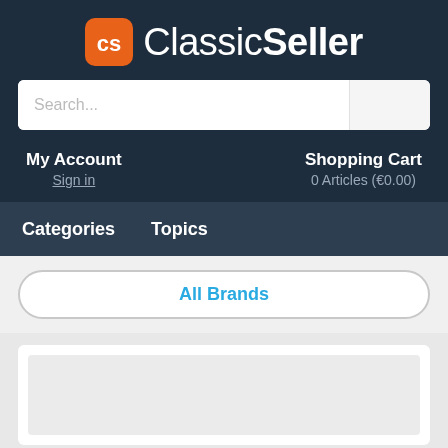[Figure (logo): ClassicSeller logo with orange CS icon and white text]
Search...
My Account
Sign in
Shopping Cart
0 Articles (€0.00)
Categories   Topics
All Brands
[Figure (screenshot): Product card area with white card and light gray image placeholder]